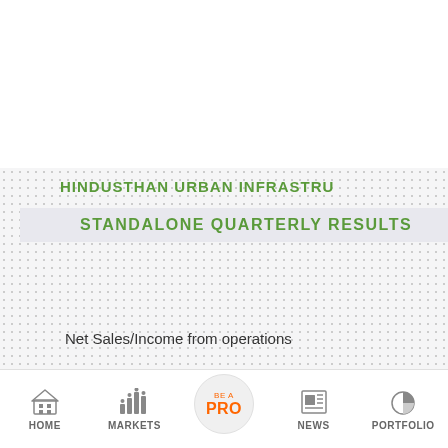HINDUSTHAN URBAN INFRASTRU
STANDALONE QUARTERLY RESULTS
Net Sales/Income from operations
HOME   MARKETS   BE A PRO   NEWS   PORTFOLIO